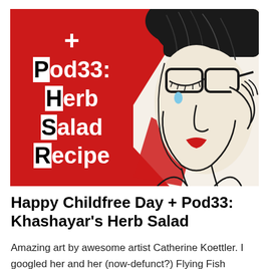[Figure (illustration): Composite image: left half is a red panel with white bold text reading '+ Pod33: Herb Salad Recipe' with H, S, R letters highlighted in black; right half is a pop-art style comic illustration of a crying woman with dark hair, red lips, and tears.]
Happy Childfree Day + Pod33: Khashayar's Herb Salad
Amazing art by awesome artist Catherine Koettler. I googled her and her (now-defunct?) Flying Fish graphics company, but found no info to credit her properly. I'd love to hear anything you might know about Koettler.